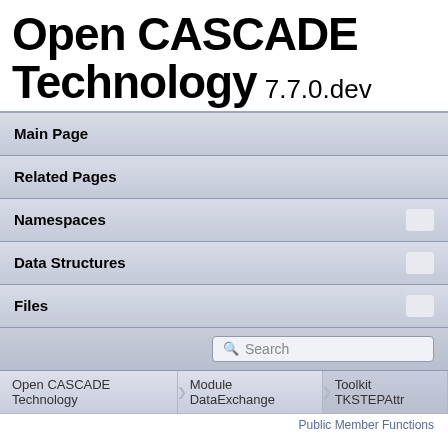Open CASCADE Technology 7.7.0.dev
Main Page
Related Pages
Namespaces
Data Structures
Files
Search
Open CASCADE Technology > Module DataExchange > Toolkit TKSTEPAttr
Public Member Functions
StepVisual_Tessellate Class Reference